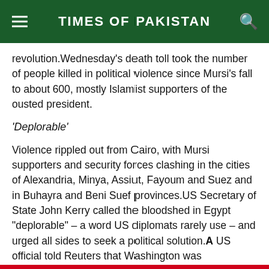TIMES OF PAKISTAN
revolution.Wednesday’s death toll took the number of people killed in political violence since Mursi’s fall to about 600, mostly Islamist supporters of the ousted president.
‘Deplorable’
Violence rippled out from Cairo, with Mursi supporters and security forces clashing in the cities of Alexandria, Minya, Assiut, Fayoum and Suez and in Buhayra and Beni Suef provinces.US Secretary of State John Kerry called the bloodshed in Egypt “deplorable” – a word US diplomats rarely use – and urged all sides to seek a political solution.A US official told Reuters that Washington was considering canceling a major joint military exercise with Egypt, due this year, after the latest violence, in what would be a direct snub to the Egyptian armed forces.